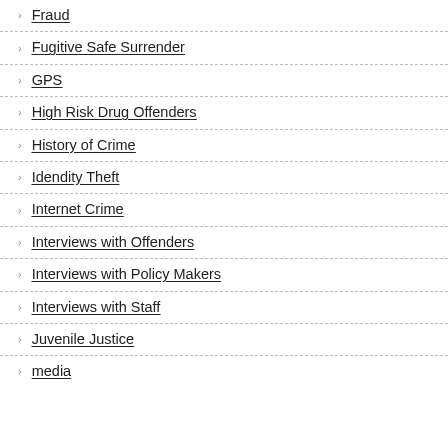Fraud
Fugitive Safe Surrender
GPS
High Risk Drug Offenders
History of Crime
Idendity Theft
Internet Crime
Interviews with Offenders
Interviews with Policy Makers
Interviews with Staff
Juvenile Justice
media